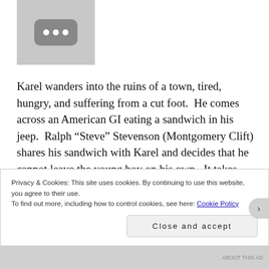[Figure (other): Gray placeholder image with three white dots in a rounded dark gray rectangle]
Karel wanders into the ruins of a town, tired, hungry, and suffering from a cut foot.  He comes across an American GI eating a sandwich in his jeep.  Ralph “Steve” Stevenson (Montgomery Clift) shares his sandwich with Karel and decides that he cannot leave the young boy on his own.  It takes some strong arms and determination, but Steve manages to get Karel back to his house.  Once he shows Karel that he and his friend Jerry Fisher (Wendell
Privacy & Cookies: This site uses cookies. By continuing to use this website, you agree to their use.
To find out more, including how to control cookies, see here: Cookie Policy
Close and accept